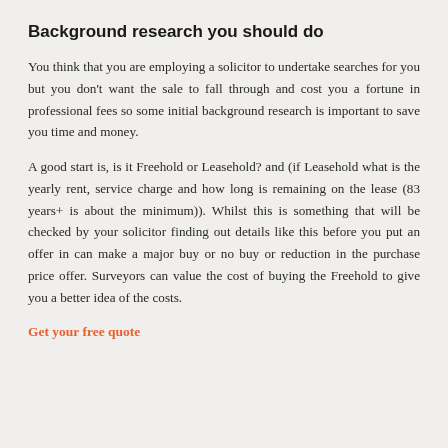Background research you should do
You think that you are employing a solicitor to undertake searches for you but you don't want the sale to fall through and cost you a fortune in professional fees so some initial background research is important to save you time and money.
A good start is, is it Freehold or Leasehold? and (if Leasehold what is the yearly rent, service charge and how long is remaining on the lease (83 years+ is about the minimum)). Whilst this is something that will be checked by your solicitor finding out details like this before you put an offer in can make a major buy or no buy or reduction in the purchase price offer. Surveyors can value the cost of buying the Freehold to give you a better idea of the costs.
Get your free quote